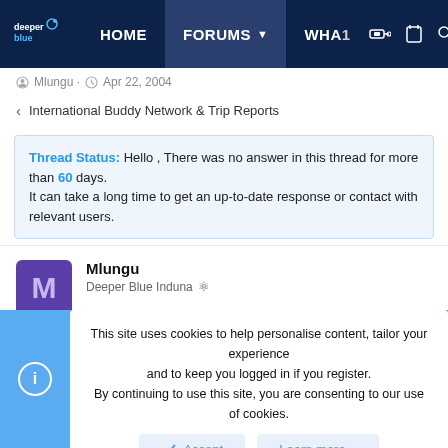[Figure (screenshot): Deeper Blue website navigation bar with logo, HOME, FORUMS, WHAT menu items and icons]
Mlungu · Apr 22, 2004
< International Buddy Network & Trip Reports
Thread Status: Hello , There was no answer in this thread for more than 60 days. It can take a long time to get an up-to-date response or contact with relevant users.
Mlungu
Deeper Blue Induna
This site uses cookies to help personalise content, tailor your experience and to keep you logged in if you register.
By continuing to use this site, you are consenting to our use of cookies.
Accept   Learn more...